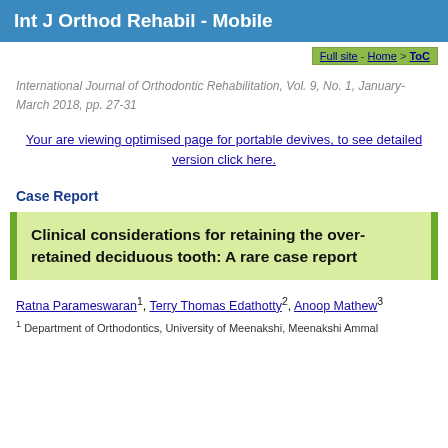Int J Orthod Rehabil - Mobile
Full site - Home > ToC
International Journal of Orthodontic Rehabilitation, Vol. 9, No. 1, January-March 2018, pp. 27-31
Your are viewing optimised page for portable devives, to see detailed version click here.
Case Report
Clinical considerations for retaining the over-retained deciduous tooth: A rare case report
Ratna Parameswaran1, Terry Thomas Edathotty2, Anoop Mathew3
1 Department of Orthodontics, University of Meenakshi, Meenakshi Ammal